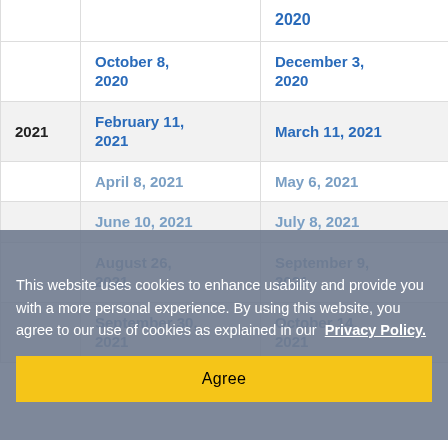| Year | Date 1 | Date 2 |
| --- | --- | --- |
|  | 2020 |  |
|  | October 8, 2020 | December 3, 2020 |
| 2021 | February 11, 2021 | March 11, 2021 |
|  | April 8, 2021 | May 6, 2021 |
|  | June 10, 2021 | July 8, 2021 |
|  | August 26, 2021 | September 9, 2021 |
|  | September 30, 2021 | October 14, 2021 |
This website uses cookies to enhance usability and provide you with a more personal experience. By using this website, you agree to our use of cookies as explained in our Privacy Policy.